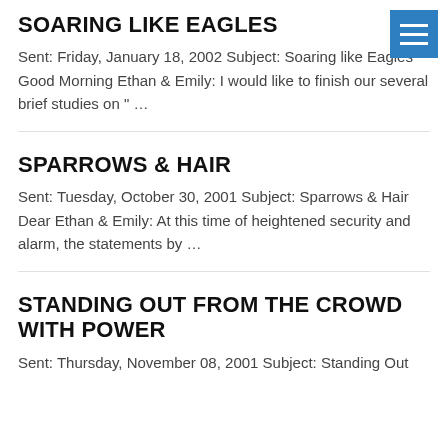SOARING LIKE EAGLES
Sent: Friday, January 18, 2002 Subject: Soaring like Eagles Good Morning Ethan & Emily: I would like to finish our several brief studies on " …
SPARROWS & HAIR
Sent: Tuesday, October 30, 2001 Subject: Sparrows & Hair Dear Ethan & Emily: At this time of heightened security and alarm, the statements by …
STANDING OUT FROM THE CROWD WITH POWER
Sent: Thursday, November 08, 2001 Subject: Standing Out